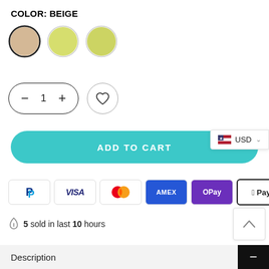COLOR: BEIGE
[Figure (illustration): Three color swatches: beige (selected with dark border), light yellow-green, darker yellow-green]
[Figure (illustration): Quantity selector showing minus button, 1, plus button, and a circular wishlist/heart button]
ADD TO CART
[Figure (illustration): USD currency selector badge with US flag]
[Figure (illustration): Payment method icons: PayPal, VISA, Mastercard, AMEX, OPay, Apple Pay, Google Pay]
5 sold in last 10 hours
[Figure (illustration): Scroll to top chevron button]
Description